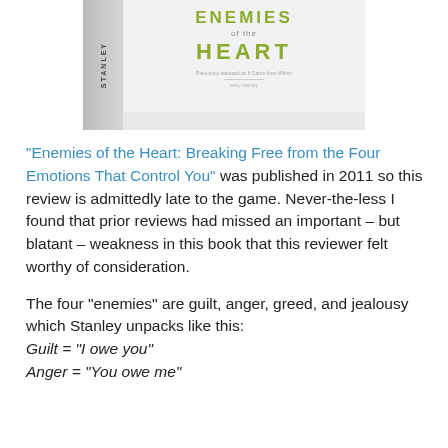[Figure (photo): Book cover image of 'Enemies of the Heart: Breaking Free from the Four Emotions That Control You' by Stanley, showing a white cover with green text]
“Enemies of the Heart: Breaking Free from the Four Emotions That Control You” was published in 2011 so this review is admittedly late to the game. Never-the-less I found that prior reviews had missed an important – but blatant – weakness in this book that this reviewer felt worthy of consideration.

The four “enemies” are guilt, anger, greed, and jealousy which Stanley unpacks like this:
Guilt = “I owe you”
Anger = “You owe me”